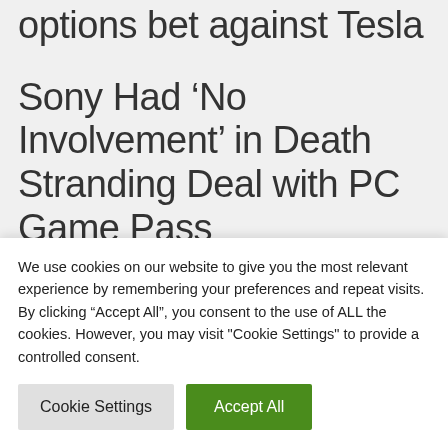options bet against Tesla
Sony Had ‘No Involvement’ in Death Stranding Deal with PC Game Pass
Ben Affleck’s Mom Rushed To
We use cookies on our website to give you the most relevant experience by remembering your preferences and repeat visits. By clicking “Accept All”, you consent to the use of ALL the cookies. However, you may visit "Cookie Settings" to provide a controlled consent.
Cookie Settings | Accept All